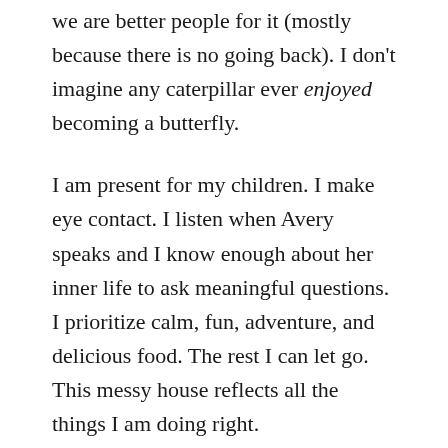we are better people for it (mostly because there is no going back). I don't imagine any caterpillar ever enjoyed becoming a butterfly.
I am present for my children. I make eye contact. I listen when Avery speaks and I know enough about her inner life to ask meaningful questions. I prioritize calm, fun, adventure, and delicious food. The rest I can let go. This messy house reflects all the things I am doing right.
I sneak away for an hour over the New Year to catch up with a friend, T. (I called from my idling car where the brothers were falling asleep and later moved into a locked bathroom. Avery stood outside the door chanting, gula gula gula gula, which means together,